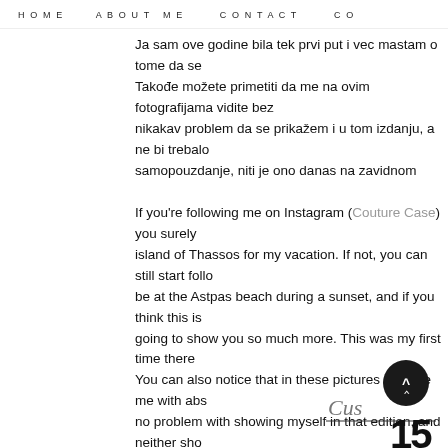HOME   ABOUT ME   CONTACT   CO...
Ja sam ove godine bila tek prvi put i vec mastam o tome da se Takođe možete primetiti da me na ovim fotografijama vidite bez nikakav problem da se prikažem i u tom izdanju, a ne bi trebal samopouzdanje, niti je ono danas na zavidnom nivou, ali ni Ri onakvi kakvi jeste, i što pre počnete da verujete u to, to ćete p izgledate i niko nema prava da pokušava da vas uveri u supro
If you're following me on Instagram (Couture Case) you surely island of Thassos for my vacation. If not, you can still start follo be at the Astpas beach during a sunset, and if you think this is going to show you so much more. This was my first time there You can also notice that in these pictures you see me with abs no problem with showing myself in that edition, and neither sho beginning, and that it's far from ideal, but Rome wasn't built in a and the sooner you start believing it you'll feel the difference m you look like, and no one has the right to try to make you feel a
[Figure (illustration): Dark circle button with upward chevron arrow, partially visible cursive signature, and bold logo text at bottom right corner]